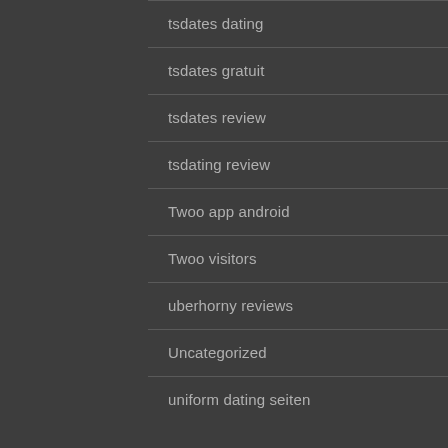tsdates dating
tsdates gratuit
tsdates review
tsdating review
Twoo app android
Twoo visitors
uberhorny reviews
Uncategorized
uniform dating seiten